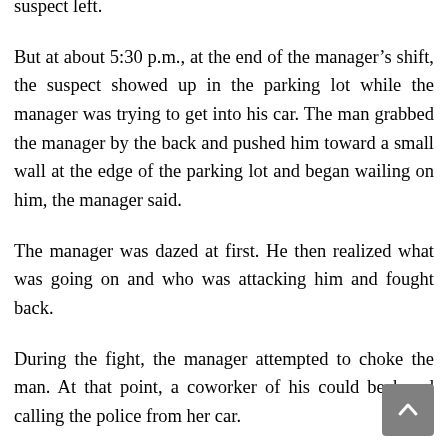suspect left.
But at about 5:30 p.m., at the end of the manager’s shift, the suspect showed up in the parking lot while the manager was trying to get into his car. The man grabbed the manager by the back and pushed him toward a small wall at the edge of the parking lot and began wailing on him, the manager said.
The manager was dazed at first. He then realized what was going on and who was attacking him and fought back.
During the fight, the manager attempted to choke the man. At that point, a coworker of his could be heard calling the police from her car.
Shortly afterwards, the man fled. The manager took off his suit jacket and tie and